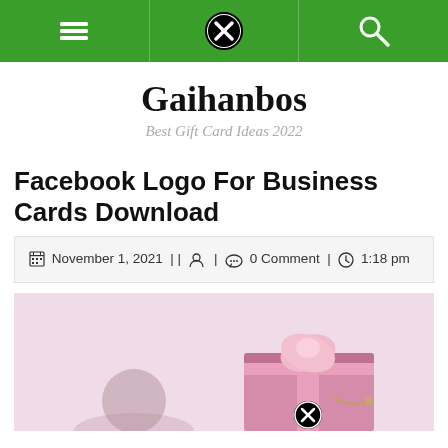Navigation bar with menu, logo X, and search icons
Gaihanbos
Best Gift Card Ideas 2022
Facebook Logo For Business Cards Download
November 1, 2021 || author | 0 Comment | 1:18 pm
[Figure (photo): Pink gift box with ribbon and bow, partially visible at the bottom of the page]